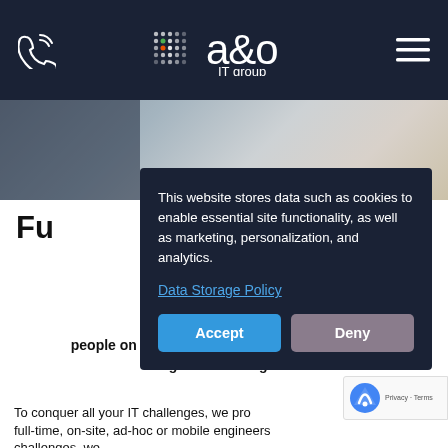a&o IT group
[Figure (screenshot): Hero background photo of IT workplace environment, partially obscured]
Full [coverage] or
This website stores data such as cookies to enable essential site functionality, as well as marketing, personalization, and analytics.
Data Storage Policy
Accept | Deny
Our [team are] the people on the ground, providing you with 24/7 global coverage.
To conquer all your IT challenges, we pro[vide] full-time, on-site, ad-hoc or mobile engineers